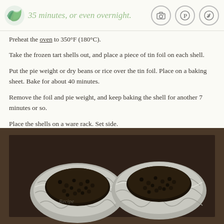35 minutes, or even overnight.
Preheat the oven to 350°F (180°C).
Take the frozen tart shells out, and place a piece of tin foil on each shell.
Put the pie weight or dry beans or rice over the tin foil. Place on a baking sheet. Bake for about 40 minutes.
Remove the foil and pie weight, and keep baking the shell for another 7 minutes or so.
Place the shells on a ware rack. Set side.
[Figure (photo): Two tart shells on a dark baking sheet, each lined with tin foil filled with dark pie weights or dry beans.]